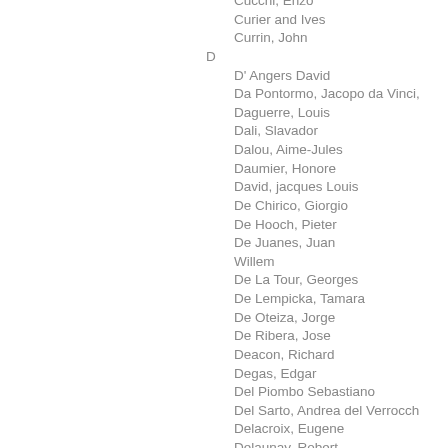Cucchi, Enzo
Curier and Ives
Currin, John
D
D' Angers David
Da Pontormo, Jacopo da Vinci,
Daguerre, Louis
Dali, Slavador
Dalou, Aime-Jules
Daumier, Honore
David, jacques Louis
De Chirico, Giorgio
De Hooch, Pieter
De Juanes, Juan Willem
De La Tour, Georges
De Lempicka, Tamara
De Oteiza, Jorge
De Ribera, Jose
Deacon, Richard
Degas, Edgar
Del Piombo Sebastiano
Del Sarto, Andrea del Verrocch
Delacroix, Eugene
Delaunay, Robert